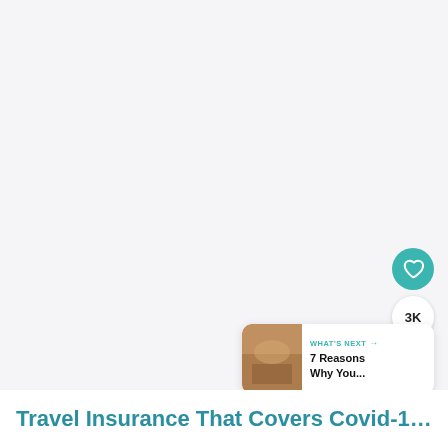[Figure (photo): Large light gray placeholder image area occupying the top portion of the page]
[Figure (screenshot): UI overlay with a teal heart/like button, a white circle showing '3K' likes count, and a teal share button on the right side]
[Figure (screenshot): WHAT'S NEXT card with a small thumbnail photo (warm tones, landscape) and text '7 Reasons Why You...' in the bottom right corner]
Travel Insurance That Covers Covid-19 For